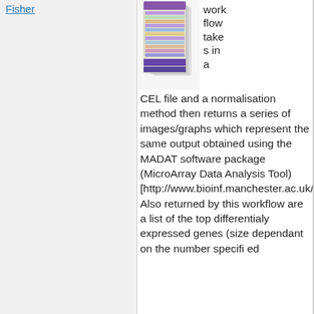Fisher
[Figure (screenshot): A workflow diagram showing stacked layers/steps, rendered as a small thumbnail image with purple and yellow/beige colored sections.]
workflow takes in a CEL file and a normalisation method then returns a series of images/graphs which represent the same output obtained using the MADAT software package (MicroArray Data Analysis Tool) [http://www.bioinf.manchester.ac.uk/MADAT/index.html]. Also returned by this workflow are a list of the top differentialy expressed genes (size dependant on the number specifi ed